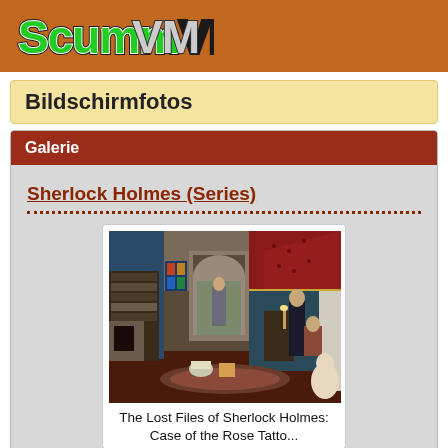[Figure (logo): ScummVM logo with green text 'Scumm' and grey/white 'VM' on an orange-brown header bar]
Bildschirmfotos
Galerie
Sherlock Holmes (Series)
[Figure (screenshot): Game screenshot from The Lost Files of Sherlock Holmes showing a Victorian interior room scene with characters in 3D rendered style]
The Lost Files of Sherlock Holmes: Case of the Rose Tatto...